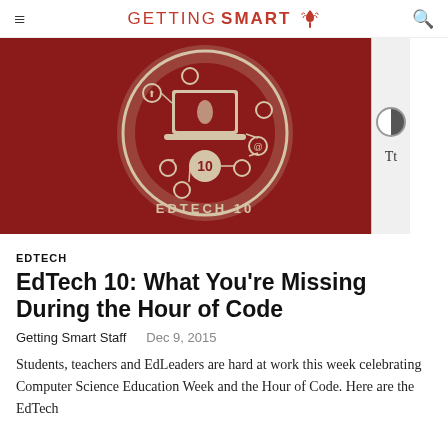GETTING SMART
[Figure (illustration): EdTech 10 badge illustration on dark red background: a circular badge with a laptop in the center surrounded by connected social media and technology icons, with '10' and 'EDTECH 10' text in the foreground]
EDTECH
EdTech 10: What You’re Missing During the Hour of Code
Getting Smart Staff    Dec 9, 2015
Students, teachers and EdLeaders are hard at work this week celebrating Computer Science Education Week and the Hour of Code. Here are the EdTech